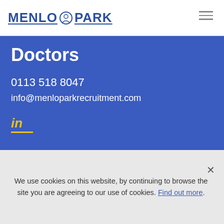MENLO PARK
Doctors
0113 518 8047
info@menloparkrecruitment.com
[Figure (logo): LinkedIn 'in' icon in yellow with yellow underline]
Information for Doctors
We use cookies on this website, by continuing to browse the site you are agreeing to our use of cookies. Find out more.